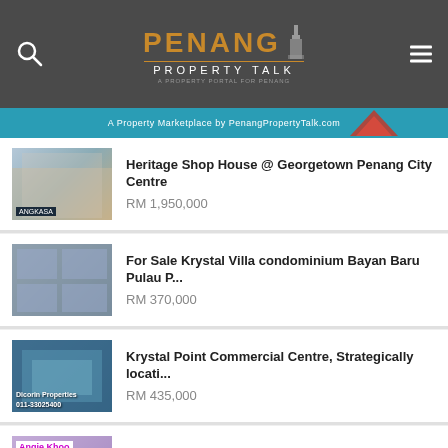Penang Property Talk
A Property Marketplace by PenangPropertyTalk.com
Heritage Shop House @ Georgetown Penang City Centre — RM 1,950,000
For Sale Krystal Villa condominium Bayan Baru Pulau P... — RM 370,000
Krystal Point Commercial Centre, Strategically locati... — RM 435,000
Desa Permata Pearl Block 9, Ayer Itam, Farlim, Paya T... — RM 260,000
Suntech@Penang Cybercity, MSC building, 24 hours Secu... — RM 470,000
I-Avenue, Fully Furnished, Very good...